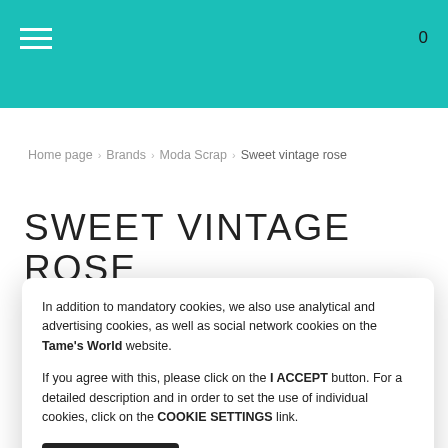[Figure (screenshot): Teal navigation header bar with hamburger menu icon on left and cart count '0' on right]
Home page › Brands › Moda Scrap › Sweet vintage rose
SWEET VINTAGE ROSE
In addition to mandatory cookies, we also use analytical and advertising cookies, as well as social network cookies on the Tame's World website.

If you agree with this, please click on the I ACCEPT button. For a detailed description and in order to set the use of individual cookies, click on the COOKIE SETTINGS link.
I ACCEPT
Cookie Settings